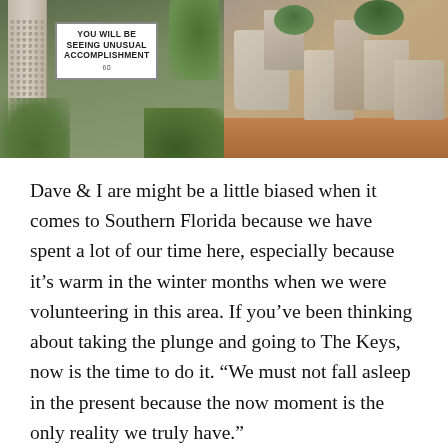[Figure (photo): Two side-by-side photos: left shows a concrete pillar and a white sign reading 'YOU WILL BE SEEING UNUSUAL ACCOMPLISHMENT' with greenery; right shows stone ruins or rock garden with shrubs and reddish ground.]
Dave & I are might be a little biased when it comes to Southern Florida because we have spent a lot of our time here, especially because it's warm in the winter months when we were volunteering in this area. If you've been thinking about taking the plunge and going to The Keys, now is the time to do it. “We must not fall asleep in the present because the now moment is the only reality we truly have.”
— Kat Lahr, We had a great time volunteering in The Keys and visiting all the islands through to Key West.
Traveling there by car takes you down a string of palm